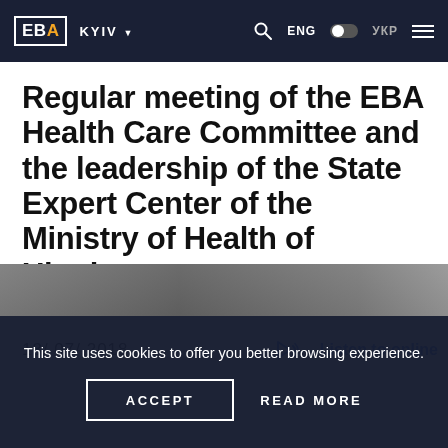EBA | KYIV | ENG | УКР
Regular meeting of the EBA Health Care Committee and the leadership of the State Expert Center of the Ministry of Health of Ukraine
13/ 07/ 2018
Listen to online
[Figure (photo): Partial view of a photo strip at the bottom of the article, showing a darkened image of a meeting or event]
This site uses cookies to offer you better browsing experience.
ACCEPT
READ MORE